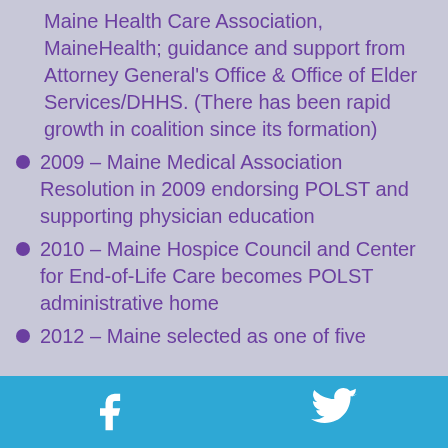Maine Health Care Association, MaineHealth; guidance and support from Attorney General's Office & Office of Elder Services/DHHS. (There has been rapid growth in coalition since its formation)
2009 – Maine Medical Association Resolution in 2009 endorsing POLST and supporting physician education
2010 – Maine Hospice Council and Center for End-of-Life Care becomes POLST administrative home
2012 – Maine selected as one of five
Facebook | Twitter